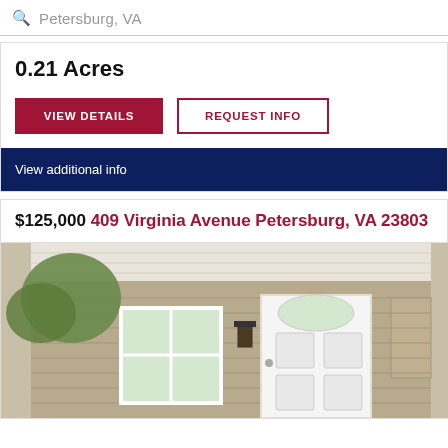Petersburg, VA
0.21 Acres
VIEW DETAILS
REQUEST INFO
View additional info
$125,000 409 Virginia Avenue Petersburg, VA 23803
[Figure (photo): Exterior photo of a house with tan/beige siding, white trim, white front door with arched window, wall-mounted lantern light, covered porch, and green trees visible in background.]